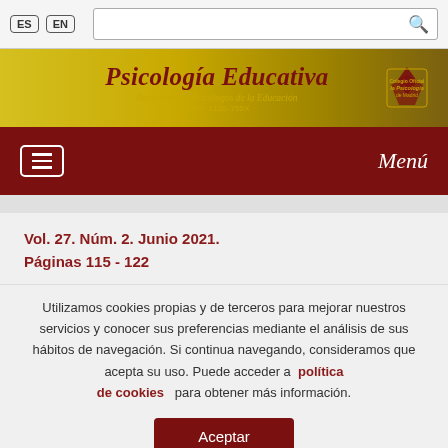ES EN [search bar]
[Figure (logo): Psicología Educativa journal header with logo - Revista de los Psicólogos de la Educación, ISSN 1135-755X]
Menú (navigation bar with hamburger icon)
Vol. 27. Núm. 2. Junio 2021. Páginas 115 - 122
Utilizamos cookies propias y de terceros para mejorar nuestros servicios y conocer sus preferencias mediante el análisis de sus hábitos de navegación. Si continua navegando, consideramos que acepta su uso. Puede acceder a política de cookies para obtener más información.
Aceptar